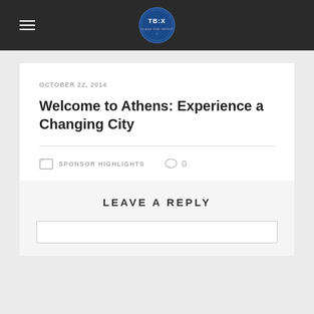TBX logo and navigation header
OCTOBER 22, 2014
Welcome to Athens: Experience a Changing City
SPONSOR HIGHLIGHTS   0
LEAVE A REPLY